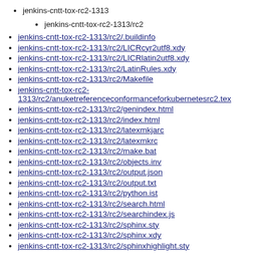jenkins-cntt-tox-rc2-1313
jenkins-cntt-tox-rc2-1313/rc2
jenkins-cntt-tox-rc2-1313/rc2/.buildinfo
jenkins-cntt-tox-rc2-1313/rc2/LICRcyr2utf8.xdy
jenkins-cntt-tox-rc2-1313/rc2/LICRlatin2utf8.xdy
jenkins-cntt-tox-rc2-1313/rc2/LatinRules.xdy
jenkins-cntt-tox-rc2-1313/rc2/Makefile
jenkins-cntt-tox-rc2-1313/rc2/anuketreferenceconformanceforkubernetesrc2.tex
jenkins-cntt-tox-rc2-1313/rc2/genindex.html
jenkins-cntt-tox-rc2-1313/rc2/index.html
jenkins-cntt-tox-rc2-1313/rc2/latexmkjarc
jenkins-cntt-tox-rc2-1313/rc2/latexmkrc
jenkins-cntt-tox-rc2-1313/rc2/make.bat
jenkins-cntt-tox-rc2-1313/rc2/objects.inv
jenkins-cntt-tox-rc2-1313/rc2/output.json
jenkins-cntt-tox-rc2-1313/rc2/output.txt
jenkins-cntt-tox-rc2-1313/rc2/python.ist
jenkins-cntt-tox-rc2-1313/rc2/search.html
jenkins-cntt-tox-rc2-1313/rc2/searchindex.js
jenkins-cntt-tox-rc2-1313/rc2/sphinx.sty
jenkins-cntt-tox-rc2-1313/rc2/sphinx.xdy
jenkins-cntt-tox-rc2-1313/rc2/sphinxhighlight.sty